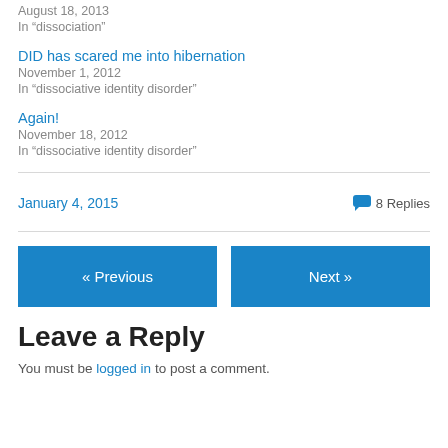August 18, 2013
In "dissociation"
DID has scared me into hibernation
November 1, 2012
In "dissociative identity disorder"
Again!
November 18, 2012
In "dissociative identity disorder"
January 4, 2015
8 Replies
« Previous
Next »
Leave a Reply
You must be logged in to post a comment.